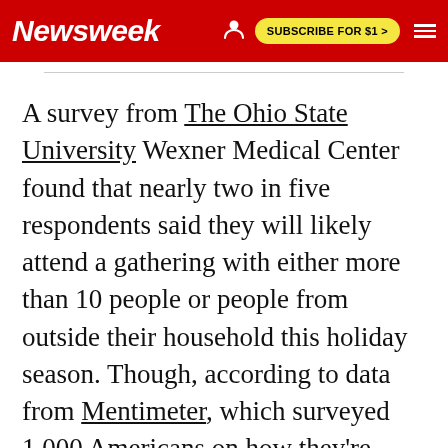Newsweek | SUBSCRIBE FOR $1 >
A survey from The Ohio State University Wexner Medical Center found that nearly two in five respondents said they will likely attend a gathering with either more than 10 people or people from outside their household this holiday season. Though, according to data from Mentimeter, which surveyed 1,000 Americans on how they're preparing for Thanksgiving, 34 percent of celebrations will be held either fully remotely or semi remotely,